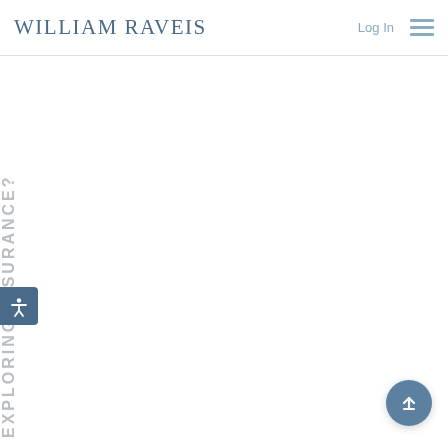William Raveis | Log In | Menu
EXPLORING INSURANCE?
[Figure (other): Accessibility icon button on left side of page]
[Figure (other): Back to top arrow button, bottom right corner]